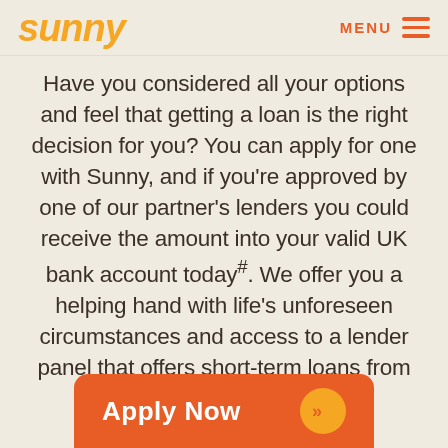sunny | MENU
Have you considered all your options and feel that getting a loan is the right decision for you? You can apply for one with Sunny, and if you're approved by one of our partner's lenders you could receive the amount into your valid UK bank account today#. We offer you a helping hand with life's unforeseen circumstances and access to a lender panel that offers short-term loans from £100 to £2,500.
Apply Now